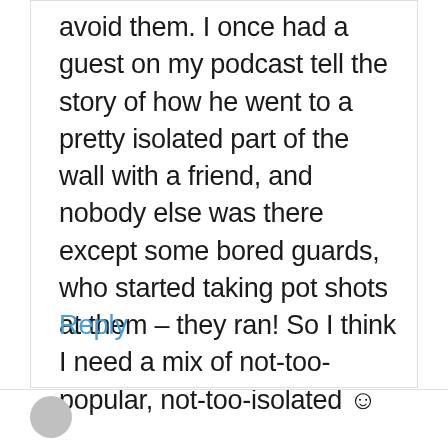avoid them. I once had a guest on my podcast tell the story of how he went to a pretty isolated part of the wall with a friend, and nobody else was there except some bored guards, who started taking pot shots at them – they ran! So I think I need a mix of not-too-popular, not-too-isolated ☺
Reply